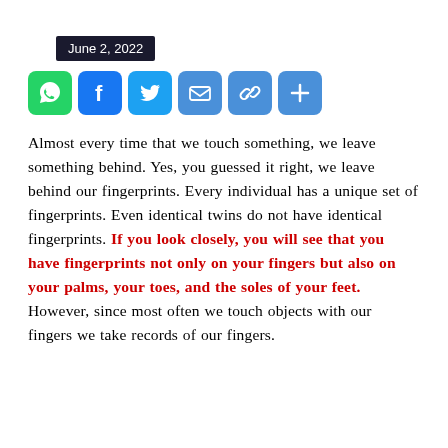June 2, 2022
[Figure (infographic): Social sharing icons row: WhatsApp (green), Facebook (blue), Twitter (blue), Email (blue), Link (blue), More/Plus (blue)]
Almost every time that we touch something, we leave something behind. Yes, you guessed it right, we leave behind our fingerprints. Every individual has a unique set of fingerprints. Even identical twins do not have identical fingerprints. If you look closely, you will see that you have fingerprints not only on your fingers but also on your palms, your toes, and the soles of your feet. However, since most often we touch objects with our fingers we take records of our fingers.